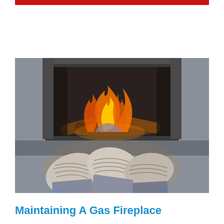[Figure (photo): Red horizontal banner bar at the top of the page]
[Figure (photo): Photo of two people wearing patterned wool socks warming their feet in front of a gas fireplace with glowing flames and logs]
Maintaining A Gas Fireplace